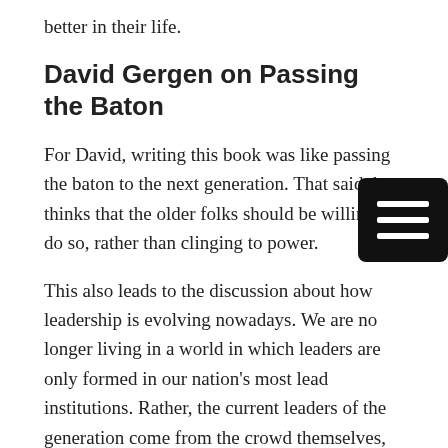better in their life.
David Gergen on Passing the Baton
For David, writing this book was like passing the baton to the next generation. That said, he thinks that the older folks should be willing to do so, rather than clinging to power.
This also leads to the discussion about how leadership is evolving nowadays. We are no longer living in a world in which leaders are only formed in our nation's most lead institutions. Rather, the current leaders of the generation come from the crowd themselves, like Greta, the Parkland students